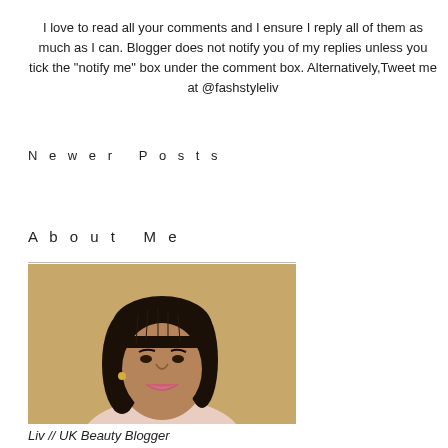I love to read all your comments and I ensure I reply all of them as much as I can. Blogger does not notify you of my replies unless you tick the "notify me" box under the comment box. Alternatively,Tweet me at @fashstyleliv
Newer Posts
About Me
[Figure (photo): Portrait photo of Liv, a UK Beauty Blogger, smiling, wearing braids and a light pink lace top, with a warm golden/beige background.]
Liv // UK Beauty Blogger